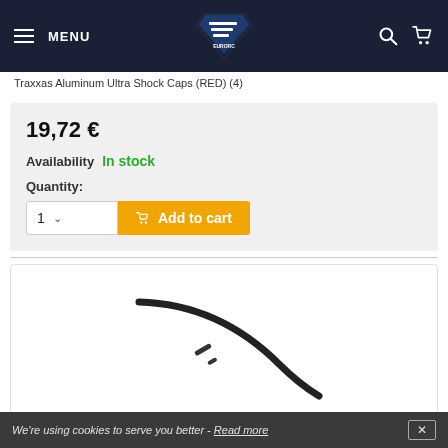MENU | EuroRC Logo | Search | Cart
Traxxas Aluminum Ultra Shock Caps (RED) (4)
19,72 €
Availability  In stock
Quantity:
1  ∨  Add to cart
[Figure (photo): Product image showing curved black rod/shock cap parts on white background]
We're using cookies to serve you better - Read more  ✕